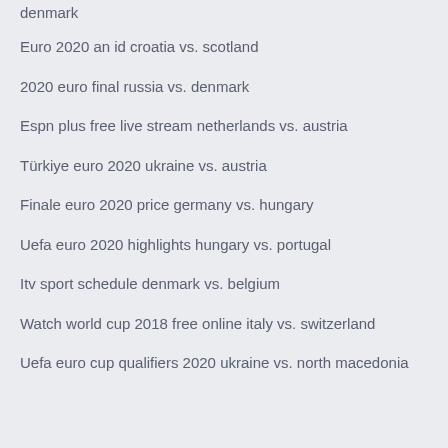denmark
Euro 2020 an id croatia vs. scotland
2020 euro final russia vs. denmark
Espn plus free live stream netherlands vs. austria
Türkiye euro 2020 ukraine vs. austria
Finale euro 2020 price germany vs. hungary
Uefa euro 2020 highlights hungary vs. portugal
Itv sport schedule denmark vs. belgium
Watch world cup 2018 free online italy vs. switzerland
Uefa euro cup qualifiers 2020 ukraine vs. north macedonia